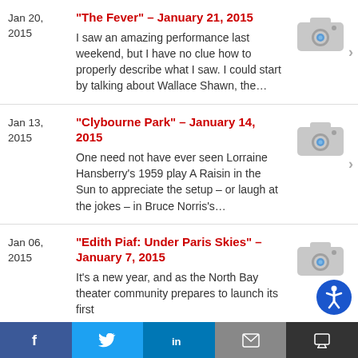Jan 20, 2015 | "The Fever" – January 21, 2015 | I saw an amazing performance last weekend, but I have no clue how to properly describe what I saw. I could start by talking about Wallace Shawn, the...
Jan 13, 2015 | "Clybourne Park" – January 14, 2015 | One need not have ever seen Lorraine Hansberry's 1959 play A Raisin in the Sun to appreciate the setup – or laugh at the jokes – in Bruce Norris's...
Jan 06, 2015 | "Edith Piaf: Under Paris Skies" – January 7, 2015 | It's a new year, and as the North Bay theater community prepares to launch its first
[Figure (other): Social sharing bar with Facebook, Twitter, LinkedIn, Email, and Accessibility buttons]